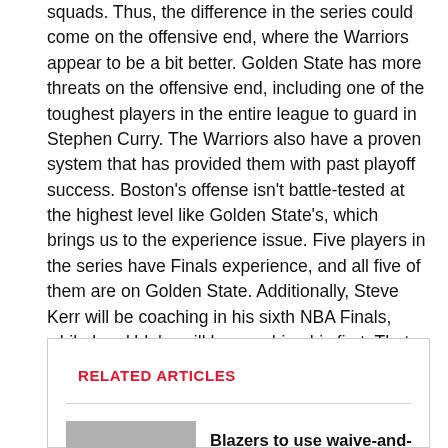squads. Thus, the difference in the series could come on the offensive end, where the Warriors appear to be a bit better. Golden State has more threats on the offensive end, including one of the toughest players in the entire league to guard in Stephen Curry. The Warriors also have a proven system that has provided them with past playoff success. Boston's offense isn't battle-tested at the highest level like Golden State's, which brings us to the experience issue. Five players in the series have Finals experience, and all five of them are on Golden State. Additionally, Steve Kerr will be coaching in his sixth NBA Finals, while Ime Udoka will be coaching his first. That enormous advantage in experience should work in the Warriors' favor.
RELATED ARTICLES
Blazers to use waive-and-stretch